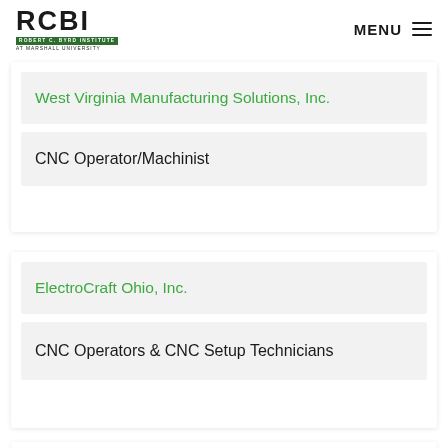RCBI Robert C. Byrd Institute at Marshall University | MENU
West Virginia Manufacturing Solutions, Inc.
CNC Operator/Machinist
ElectroCraft Ohio, Inc.
CNC Operators & CNC Setup Technicians